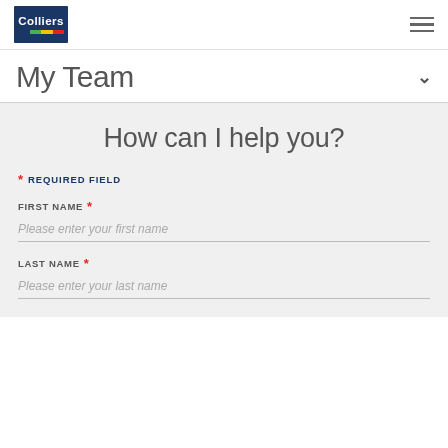[Figure (logo): Colliers International logo — dark blue rectangle with 'Colliers' in white text and colored stripes (blue, green, yellow, red) along the bottom]
My Team
How can I help you?
* REQUIRED FIELD
FIRST NAME *
Please enter your first name
LAST NAME *
Please enter your last name